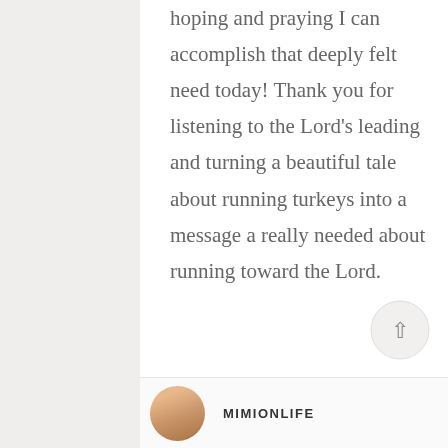hoping and praying I can accomplish that deeply felt need today! Thank you for listening to the Lord's leading and turning a beautiful tale about running turkeys into a message a really needed about running toward the Lord.
[Figure (photo): Circular scroll-to-top button with an upward arrow]
[Figure (photo): Author avatar - circular profile photo]
MIMIONLIFE